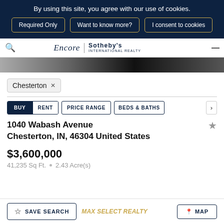By using this site, you agree with our use of cookies.
Required Only | Want to know more? | I consent to cookies
Encore | Sotheby's International Realty
[Figure (photo): Partial view of a property exterior photo strip]
Chesterton ×
BUY  RENT  PRICE RANGE  BEDS & BATHS
1040 Wabash Avenue
Chesterton, IN, 46304 United States
$3,600,000
41,235 Sq Ft. • 2.43 Acre(s)
SAVE SEARCH  MAX SELECT REALTY  MAP